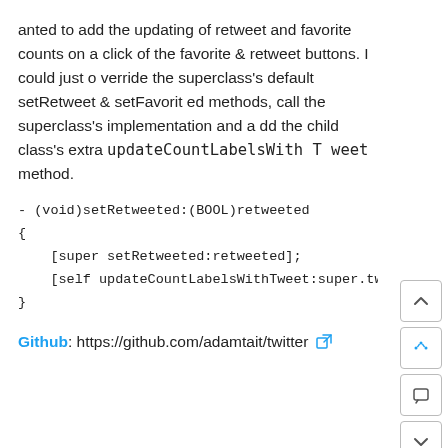anted to add the updating of retweet and favorite counts on a click of the favorite & retweet buttons. I could just override the superclass's default setRetweet & setFavorited methods, call the superclass's implementation and add the child class's extra updateCountLabelsWithTweet method.
Github: https://github.com/adamtait/twitter